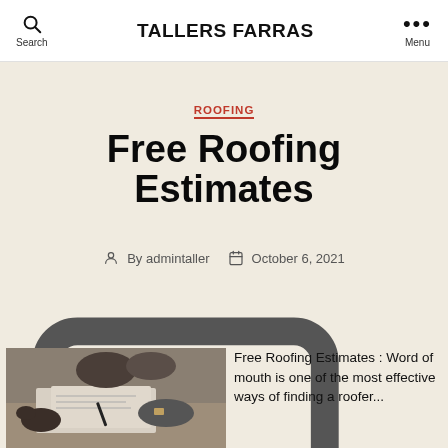TALLERS FARRAS
ROOFING
Free Roofing Estimates
By admintaller   October 6, 2021
No Comments
[Figure (photo): People sitting around a table reviewing documents and blueprints, hands visible with watches and pens]
Free Roofing Estimates : Word of mouth is one of the most effective ways of finding a roofer...